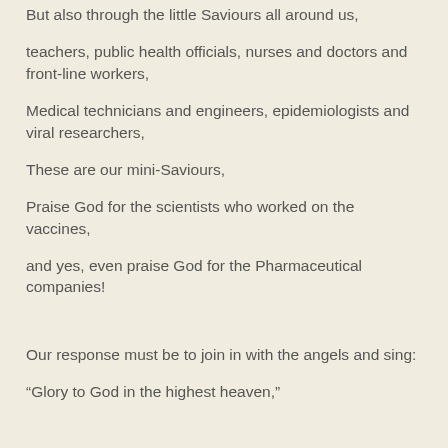But also through the little Saviours all around us,
teachers, public health officials, nurses and doctors and front-line workers,
Medical technicians and engineers, epidemiologists and viral researchers,
These are our mini-Saviours,
Praise God for the scientists who worked on the vaccines,
and yes, even praise God for the Pharmaceutical companies!
Our response must be to join in with the angels and sing:
“Glory to God in the highest heaven,”